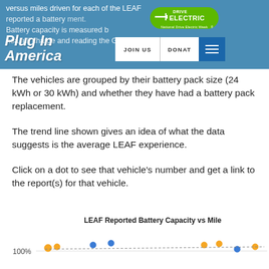versus miles driven for each of ... LEAF ... reported a battery ... ment. Battery capacity is measured b... ho... a full charge and reading the Gi...
The vehicles are grouped by their battery pack size (24 kWh or 30 kWh) and whether they have had a battery pack replacement.
The trend line shown gives an idea of what the data suggests is the average LEAF experience.
Click on a dot to see that vehicle's number and get a link to the report(s) for that vehicle.
[Figure (scatter-plot): Partial view of a scatter plot showing LEAF reported battery capacity vs miles driven, with colored dots at approximately 100% capacity level and a y-axis label of 100%]